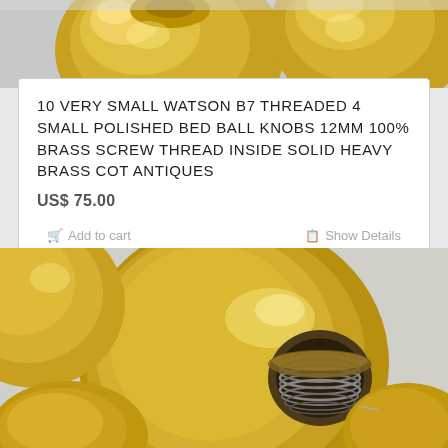[Figure (photo): Top portion of polished brass ball knobs on a light grey/white surface, partially cropped at the top of the page]
10 VERY SMALL WATSON B7 THREADED 4 SMALL POLISHED BED BALL KNOBS 12MM 100% BRASS SCREW THREAD INSIDE SOLID HEAVY BRASS COT ANTIQUES
US$ 75.00
Add to cart   Show Details
[Figure (photo): Close-up photo of polished brass ball knobs showing a screw thread hole inside one of the balls, on a light surface]